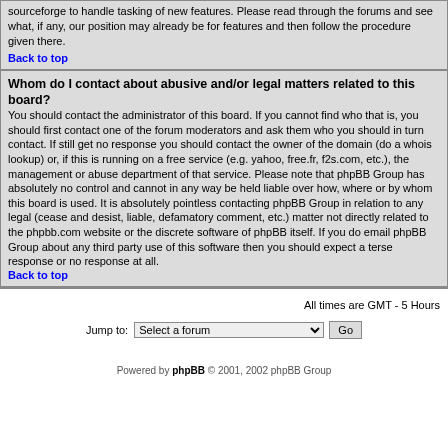sourceforge to handle tasking of new features. Please read through the forums and see what, if any, our position may already be for features and then follow the procedure given there.
Back to top
Whom do I contact about abusive and/or legal matters related to this board?
You should contact the administrator of this board. If you cannot find who that is, you should first contact one of the forum moderators and ask them who you should in turn contact. If still get no response you should contact the owner of the domain (do a whois lookup) or, if this is running on a free service (e.g. yahoo, free.fr, f2s.com, etc.), the management or abuse department of that service. Please note that phpBB Group has absolutely no control and cannot in any way be held liable over how, where or by whom this board is used. It is absolutely pointless contacting phpBB Group in relation to any legal (cease and desist, liable, defamatory comment, etc.) matter not directly related to the phpbb.com website or the discrete software of phpBB itself. If you do email phpBB Group about any third party use of this software then you should expect a terse response or no response at all.
Back to top
All times are GMT - 5 Hours
Jump to: Select a forum  Go
Powered by phpBB © 2001, 2002 phpBB Group